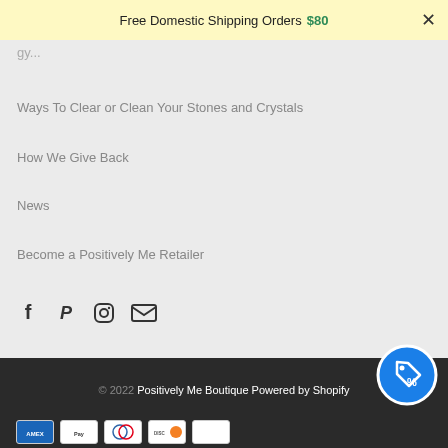Free Domestic Shipping Orders $80 ×
Ways To Clear or Clean Your Stones and Crystals
How We Give Back
News
Become a Positively Me Retailer
[Figure (illustration): Social media icons row 1: Facebook, Pinterest, Instagram, Email]
[Figure (illustration): Social media icons row 2: Facebook, Pinterest, Instagram, Email]
© 2022 Positively Me Boutique Powered by Shopify
[Figure (logo): Coupon/discount badge circle with tag icon and percent symbol]
[Figure (illustration): Payment method cards: Amex, Apple Pay, Diners, Discover, and one more]